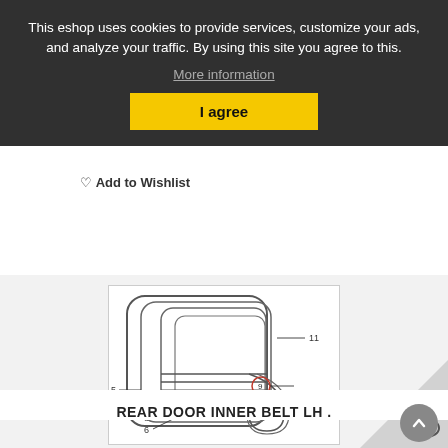This eshop uses cookies to provide services, customize your ads, and analyze your traffic. By using this site you agree to this.
More information
I agree
Add to Wishlist
[Figure (engineering-diagram): Technical line drawing of car door window seal/belt components with numbered callouts: 5, 6, 8, 9 (circled in red), 10, 11]
REAR DOOR INNER BELT LH .